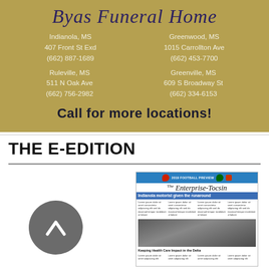[Figure (infographic): Byas Funeral Home advertisement on gold/khaki background with script title and four location listings plus a call-to-action]
THE E-EDITION
[Figure (screenshot): Thumbnail of The Enterprise-Tocsin newspaper front page showing headline 'Indianola motorist given the runaround' and a photo with caption 'Keeping Health Care Impact in the Delta']